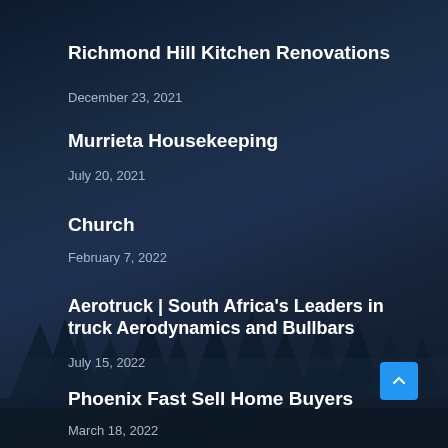Richmond Hill Kitchen Renovations
December 23, 2021
Murrieta Housekeeping
July 20, 2021
Church
February 7, 2022
Aerotruck | South Africa's Leaders in truck Aerodynamics and Bullbars
July 15, 2022
Phoenix Fast Sell Home Buyers
March 18, 2022